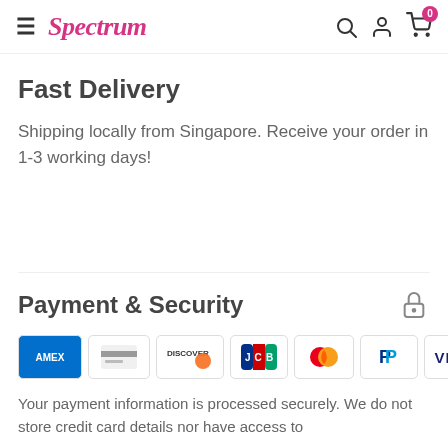Spectrum — navigation bar with hamburger menu, logo, search, account, and cart icons
Fast Delivery
Shipping locally from Singapore. Receive your order in 1-3 working days!
Payment & Security
[Figure (other): Payment method icons: American Express, generic card, Discover, JCB, Mastercard, PayPal, Visa]
Your payment information is processed securely. We do not store credit card details nor have access to